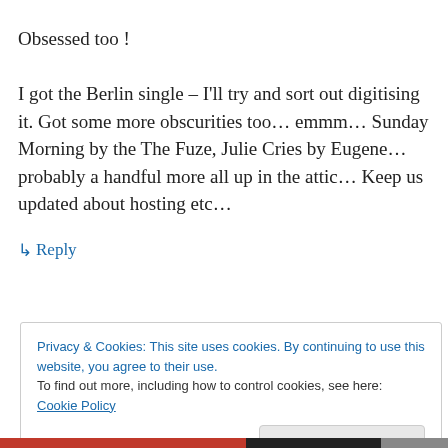Obsessed too !
I got the Berlin single – I'll try and sort out digitising it. Got some more obscurities too… emmm… Sunday Morning by the The Fuze, Julie Cries by Eugene… probably a handful more all up in the attic… Keep us updated about hosting etc…
↳ Reply
Privacy & Cookies: This site uses cookies. By continuing to use this website, you agree to their use.
To find out more, including how to control cookies, see here: Cookie Policy
Close and accept